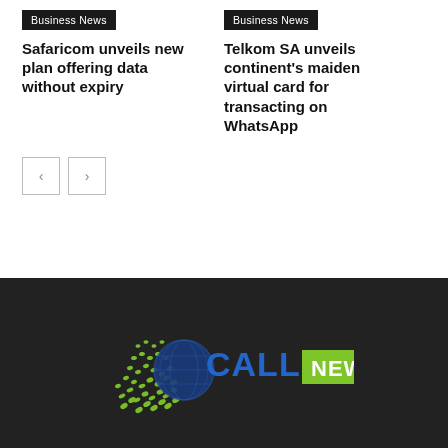Business News
Safaricom unveils new plan offering data without expiry
Business News
Telkom SA unveils continent's maiden virtual card for transacting on WhatsApp
[Figure (logo): Calla News logo on dark background with spiral/globe graphic in blue and green, text reads CALLA NEWS]